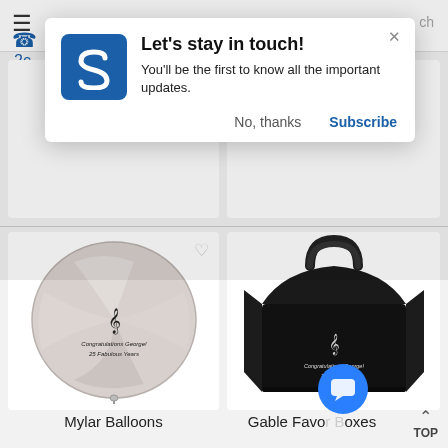[Figure (screenshot): Website popup notification dialog with blue logo, title 'Let's stay in touch!', body text 'You'll be the first to know all the important updates.', with 'No, thanks' and 'Subscribe' buttons and a close X button]
Let's stay in touch!
You'll be the first to know all the important updates.
No, thanks
Subscribe
[Figure (photo): Silver/white round Mylar balloon with treble clef music note and text 'Congratulations George! 25 Fabulous Years']
Mylar Balloons
[Figure (photo): Black gable favor box with treble clef music note and text 'Congratulations George! 25 Fabulous Years' in white]
Gable Favor Boxes